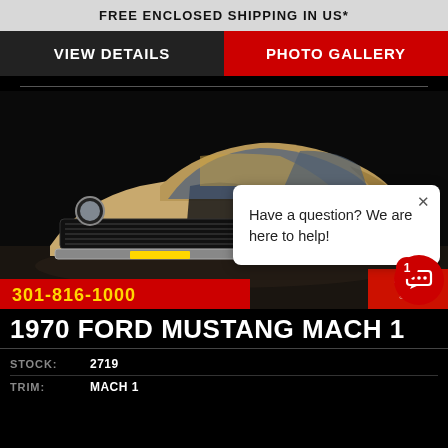FREE ENCLOSED SHIPPING IN US*
VIEW DETAILS
PHOTO GALLERY
[Figure (photo): 1970 Ford Mustang Mach 1 in gold/tan color, front 3/4 view, dark background, showroom setting. Red banner at bottom showing phone number 301-816-1000. Fleming's Ultimate Garage logo at bottom right.]
Have a question? We are here to help!
1970 FORD MUSTANG MACH 1
| Field | Value |
| --- | --- |
| STOCK: | 2719 |
| TRIM: | MACH 1 |